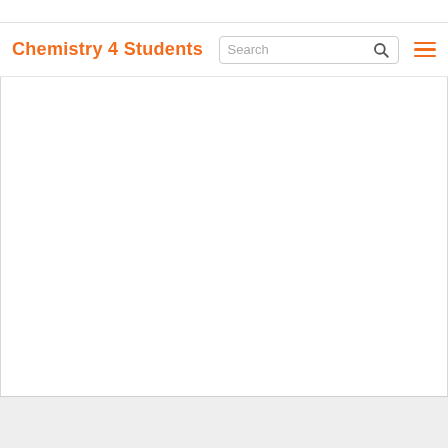Chemistry 4 Students
[Figure (screenshot): White content area below navigation bar, representing the main page body of the Chemistry 4 Students website]